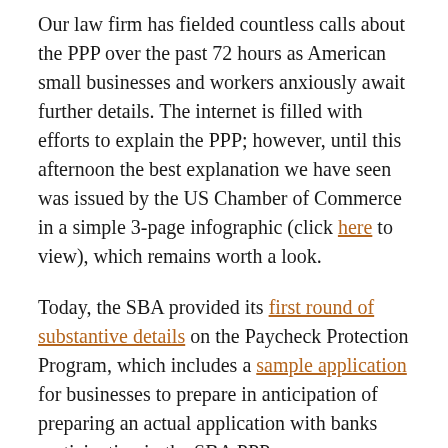Our law firm has fielded countless calls about the PPP over the past 72 hours as American small businesses and workers anxiously await further details. The internet is filled with efforts to explain the PPP; however, until this afternoon the best explanation we have seen was issued by the US Chamber of Commerce in a simple 3-page infographic (click here to view), which remains worth a look.
Today, the SBA provided its first round of substantive details on the Paycheck Protection Program, which includes a sample application for businesses to prepare in anticipation of preparing an actual application with banks participating in the SBA PPP program. Likewise, the Treasury Department posted details on its website today; however appears to have also shared the official PPP application. Business owners should expect questions about prior SBA loans, criminal history, citizenship, and bankruptcy, to name a few. Business owners will also